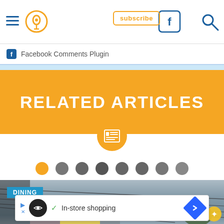Navigation header with hamburger menu, location pin icon, Facebook icon, subscribe button, search icon
Facebook Comments Plugin
RELATED ARTICLES
[Figure (screenshot): Article carousel with orange RELATED ARTICLES banner, newspaper icon, pagination dots (8 dots, first is orange/active, rest gray), and a street-view photo with DINING badge]
[Figure (screenshot): Advertisement bar: In-store shopping ad with play/close buttons, circular logo, checkmark, and blue diamond arrow icon]